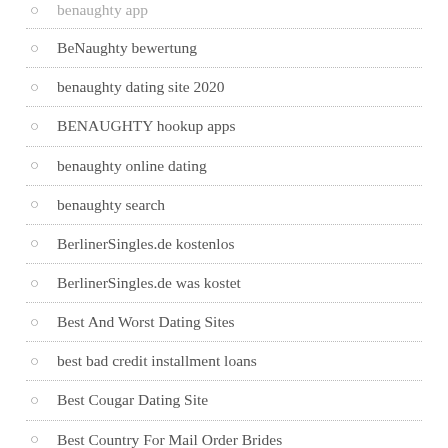benaughty app
BeNaughty bewertung
benaughty dating site 2020
BENAUGHTY hookup apps
benaughty online dating
benaughty search
BerlinerSingles.de kostenlos
BerlinerSingles.de was kostet
Best And Worst Dating Sites
best bad credit installment loans
Best Cougar Dating Site
Best Country For Mail Order Brides